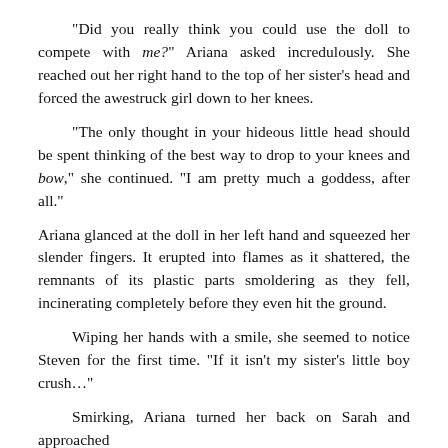“Did you really think you could use the doll to compete with me?” Ariana asked incredulously. She reached out her right hand to the top of her sister’s head and forced the awestruck girl down to her knees.
“The only thought in your hideous little head should be spent thinking of the best way to drop to your knees and bow,” she continued. “I am pretty much a goddess, after all.”
Ariana glanced at the doll in her left hand and squeezed her slender fingers. It erupted into flames as it shattered, the remnants of its plastic parts smoldering as they fell, incinerating completely before they even hit the ground.
Wiping her hands with a smile, she seemed to notice Steven for the first time. “If it isn’t my sister’s little boy crush…”
Smirking, Ariana turned her back on Sarah and approached